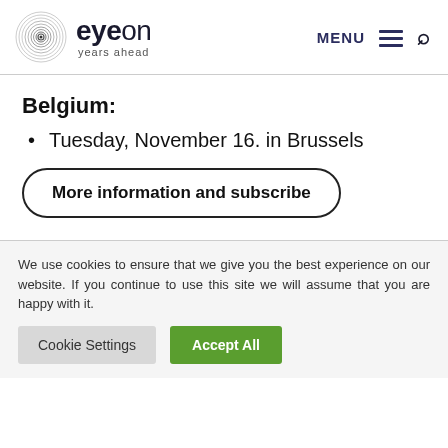eyeon years ahead — MENU navigation and search
Belgium:
Tuesday, November 16. in Brussels
More information and subscribe
We use cookies to ensure that we give you the best experience on our website. If you continue to use this site we will assume that you are happy with it.
Cookie Settings  Accept All